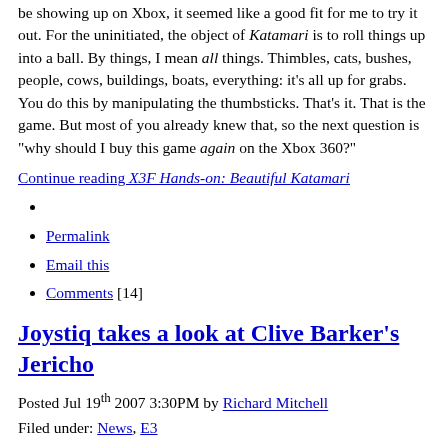be showing up on Xbox, it seemed like a good fit for me to try it out. For the uninitiated, the object of Katamari is to roll things up into a ball. By things, I mean all things. Thimbles, cats, bushes, people, cows, buildings, boats, everything: it's all up for grabs. You do this by manipulating the thumbsticks. That's it. That is the game. But most of you already knew that, so the next question is "why should I buy this game again on the Xbox 360?"
Continue reading X3F Hands-on: Beautiful Katamari
Permalink
Email this
Comments [14]
Joystiq takes a look at Clive Barker's Jericho
Posted Jul 19th 2007 3:30PM by Richard Mitchell
Filed under: News, E3
[Figure (photo): Article thumbnail image placeholder]